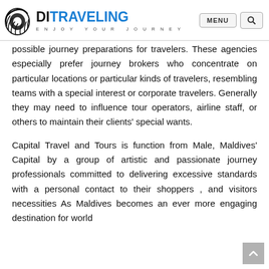DITRAVELING ENJOY YOUR JOURNEY | MENU | Search
possible journey preparations for travelers. These agencies especially prefer journey brokers who concentrate on particular locations or particular kinds of travelers, resembling teams with a special interest or corporate travelers. Generally they may need to influence tour operators, airline staff, or others to maintain their clients’ special wants.
Capital Travel and Tours is function from Male, Maldives’ Capital by a group of artistic and passionate journey professionals committed to delivering excessive standards with a personal contact to their shoppers , and visitors necessities As Maldives becomes an ever more engaging destination for world